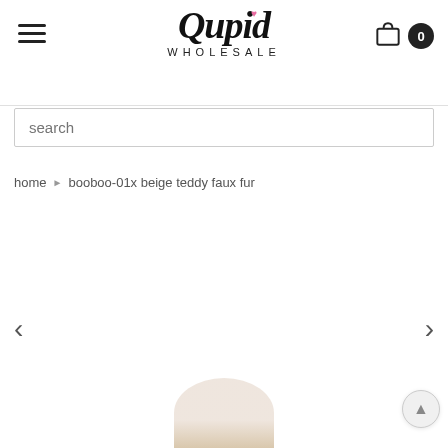[Figure (logo): Qupid Wholesale logo with script font and pink heart accent]
search
home › booboo-01x beige teddy faux fur
[Figure (photo): Product image area showing beige teddy faux fur item, partially visible at bottom. Navigation arrows on left and right sides.]